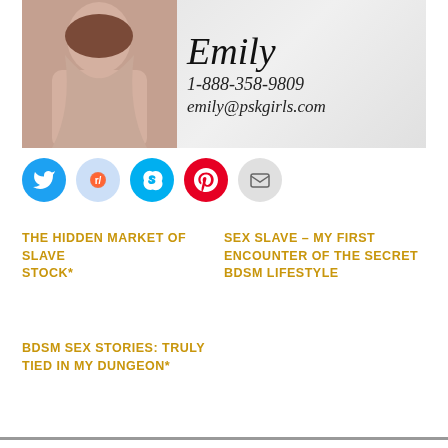[Figure (photo): Banner with photo of woman on left and name Emily, phone 1-888-358-9809, email emily@pskgirls.com on right with sparkle background]
[Figure (infographic): Row of social media icon buttons: Twitter (blue), Reddit (light blue), Skype (blue), Pinterest (red), Email (gray)]
THE HIDDEN MARKET OF SLAVE STOCK*
SEX SLAVE – MY FIRST ENCOUNTER OF THE SECRET BDSM LIFESTYLE
BDSM SEX STORIES: TRULY TIED IN MY DUNGEON*